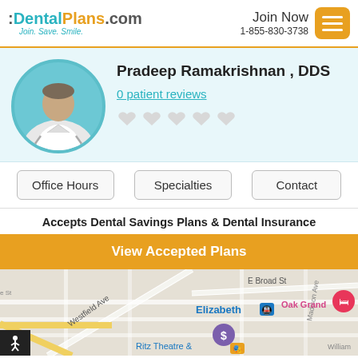DentalPlans.com — Join Now 1-855-830-3738
Pradeep Ramakrishnan , DDS
0 patient reviews
Accepts Dental Savings Plans & Dental Insurance
View Accepted Plans
[Figure (map): Street map showing Elizabeth NJ area with Westfield Ave, E Broad St, Madison Ave, Oak Grand hotel marker, Ritz Theatre, and dollar sign marker]
Office Hours  Specialties  Contact